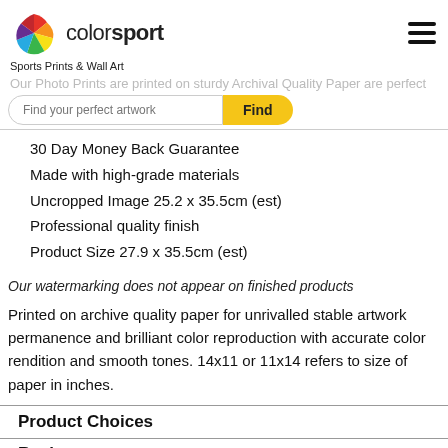colorsport — Sports Prints & Wall Art
Our Photo Prints are printed on sturdy Archival Quality Paper are perfect
Find your perfect artwork [Find button]
30 Day Money Back Guarantee
Made with high-grade materials
Uncropped Image 25.2 x 35.5cm (est)
Professional quality finish
Product Size 27.9 x 35.5cm (est)
Our watermarking does not appear on finished products
Printed on archive quality paper for unrivalled stable artwork permanence and brilliant color reproduction with accurate color rendition and smooth tones. 14x11 or 11x14 refers to size of paper in inches.
Product Choices
Reviews